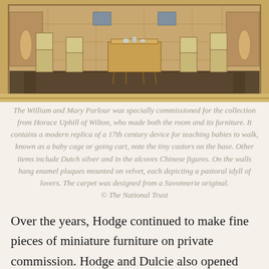[Figure (photo): Interior photograph of the William and Mary Parlour miniature room, showing period furniture including chairs, a central table with silver items, carpeted floor with ornate pattern, and alcoves with decorative figures.]
The William and Mary Parlour was specially commissioned for the collection from Horace Uphill of Wilton, who made both the room and its furniture. It contains a modern replica of a 17th century device for teaching babies to walk, known as a baby cage or going cart, note the tiny castors on the base. Other items include Dutch silver and in the alcoves Chinese figures. On the walls hang enamel plaques mounted on velvet, each depicting a pastoral idyll of lovers. The carpet was designed from a Savonnerie original.
© The National Trust
Over the years, Hodge continued to make fine pieces of miniature furniture on private commission. Hodge and Dulcie also opened their